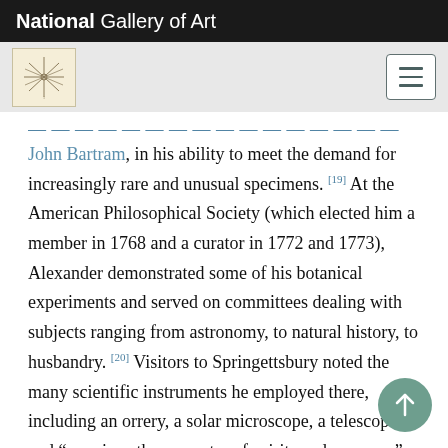National Gallery of Art
John Bartram, in his ability to meet the demand for increasingly rare and unusual specimens. [19] At the American Philosophical Society (which elected him a member in 1768 and a curator in 1772 and 1773), Alexander demonstrated some of his botanical experiments and served on committees dealing with subjects ranging from astronomy, to natural history, to husbandry. [20] Visitors to Springettsbury noted the many scientific instruments he employed there, including an orrery, a solar microscope, a telescope, and “a curious thermometer of spirits and mercury.” [21]